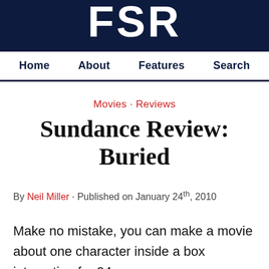FSR
Home · About · Features · Search
Movies · Reviews
Sundance Review: Buried
By Neil Miller · Published on January 24th, 2010
Make no mistake, you can make a movie about one character inside a box interesting for 94